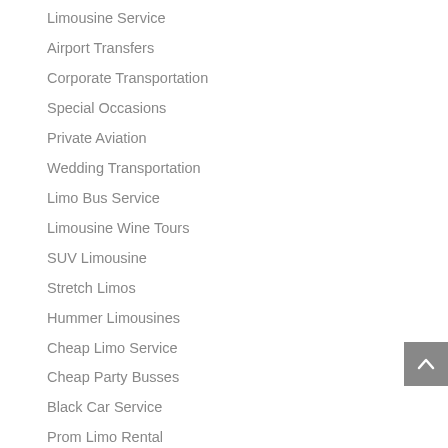Limousine Service
Airport Transfers
Corporate Transportation
Special Occasions
Private Aviation
Wedding Transportation
Limo Bus Service
Limousine Wine Tours
SUV Limousine
Stretch Limos
Hummer Limousines
Cheap Limo Service
Cheap Party Busses
Black Car Service
Prom Limo Rental